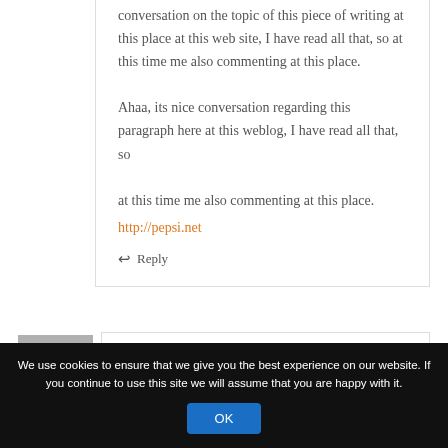conversation on the topic of this piece of writing at this place at this web site, I have read all that, so at this time me also commenting at this place.
Ahaa, its nice conversation regarding this paragraph here at this weblog, I have read all that, so at this time me also commenting at this place.
http://pepsi.net
↩ Reply
[Figure (other): Gray avatar placeholder box for next comment]
We use cookies to ensure that we give you the best experience on our website. If you continue to use this site we will assume that you are happy with it.
OK